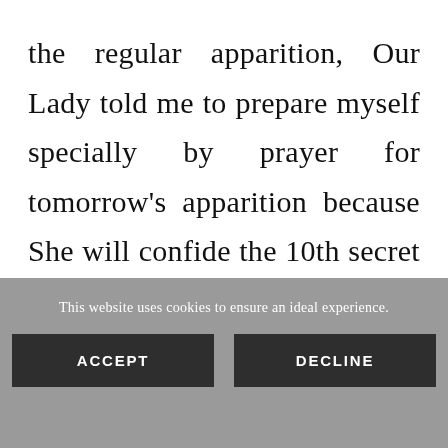the regular apparition, Our Lady told me to prepare myself specially by prayer for tomorrow's apparition because She will confide the 10th secret to me. On Saturday, September 12th, Our Lady came at 11:15 a.m. (local time). When She came
This website uses cookies to ensure an ideal experience.
ACCEPT
DECLINE